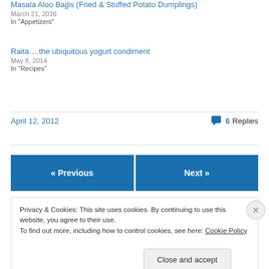Masala Aloo Bajjis (Fried & Stuffed Potato Dumplings)
March 21, 2016
In "Appetizers"
Raita….the ubiquitous yogurt condiment
May 8, 2014
In "Recipes"
April 12, 2012
6 Replies
« Previous
Next »
Privacy & Cookies: This site uses cookies. By continuing to use this website, you agree to their use.
To find out more, including how to control cookies, see here: Cookie Policy
Close and accept